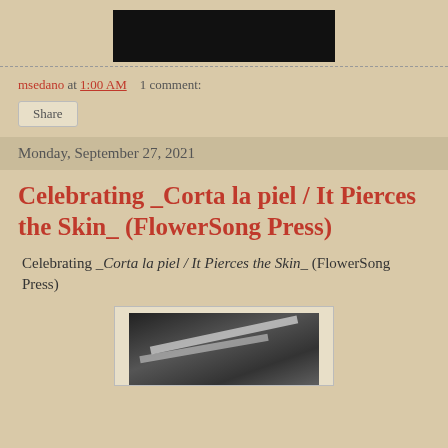[Figure (photo): Top cropped photo showing a dark black bar, partially visible image above]
msedano at 1:00 AM   1 comment:
Share
Monday, September 27, 2021
Celebrating _Corta la piel / It Pierces the Skin_ (FlowerSong Press)
Celebrating _Corta la piel / It Pierces the Skin_ (FlowerSong Press)
[Figure (photo): Black and white photograph showing trees and architectural beams/structure]